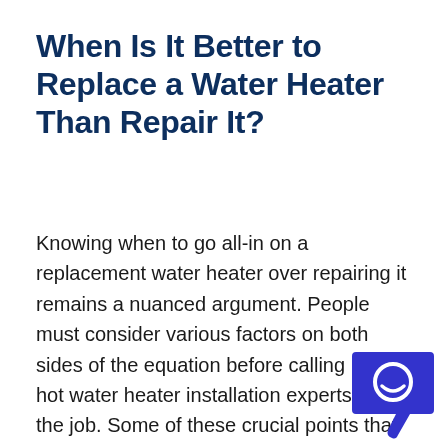When Is It Better to Replace a Water Heater Than Repair It?
Knowing when to go all-in on a replacement water heater over repairing it remains a nuanced argument. People must consider various factors on both sides of the equation before calling in the hot water heater installation experts to do the job. Some of these crucial points that you need to take into account include:
[Figure (logo): Dark blue speech bubble / chat icon with a white stylized face/letter inside, representing a service or chat logo]